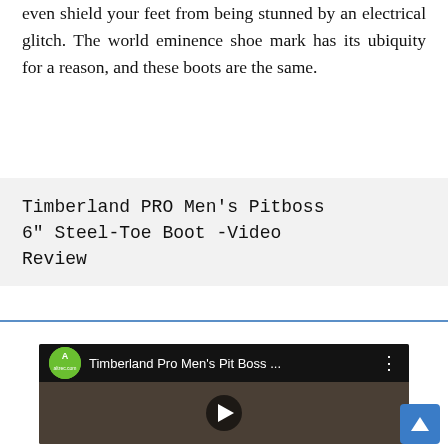even shield your feet from being stunned by an electrical glitch. The world eminence shoe mark has its ubiquity for a reason, and these boots are the same.
Timberland PRO Men's Pitboss 6" Steel-Toe Boot -Video Review
[Figure (screenshot): YouTube video thumbnail showing Timberland Pro Men's Pit Boss video review from altrec.com channel, with a play button overlay on an image of boots.]